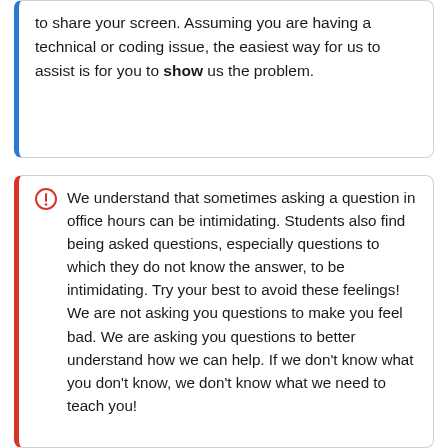to share your screen. Assuming you are having a technical or coding issue, the easiest way for us to assist is for you to show us the problem.
We understand that sometimes asking a question in office hours can be intimidating. Students also find being asked questions, especially questions to which they do not know the answer, to be intimidating. Try your best to avoid these feelings! We are not asking you questions to make you feel bad. We are asking you questions to better understand how we can help. If we don't know what you don't know, we don't know what we need to teach you!